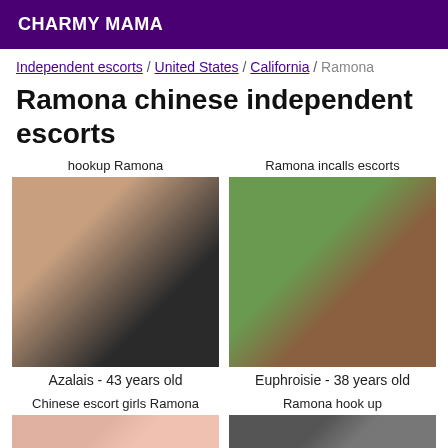CHARMY MAMA
Independent escorts / United States / California / Ramona
Ramona chinese independent escorts
hookup Ramona
[Figure (photo): Woman photo - Azalais]
Azalais - 43 years old
Ramona incalls escorts
[Figure (photo): Woman photo - Euphroisie]
Euphroisie - 38 years old
Chinese escort girls Ramona
Ramona hook up
[Figure (photo): Partial photo bottom left]
[Figure (photo): Partial photo bottom right]